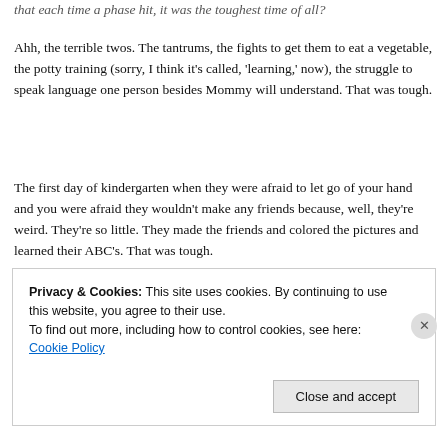that each time a phase hit, it was the toughest time of all?
Ahh, the terrible twos. The tantrums, the fights to get them to eat a vegetable, the potty training (sorry, I think it's called, 'learning,' now), the struggle to speak language one person besides Mommy will understand. That was tough.
The first day of kindergarten when they were afraid to let go of your hand and you were afraid they wouldn't make any friends because, well, they're weird. They're so little. They made the friends and colored the pictures and learned their ABC's. That was tough.
Then when they hit middle school and you thought they wouldn't adjust to roaming the halls to class, or they would get in with the
Privacy & Cookies: This site uses cookies. By continuing to use this website, you agree to their use.
To find out more, including how to control cookies, see here: Cookie Policy
Close and accept